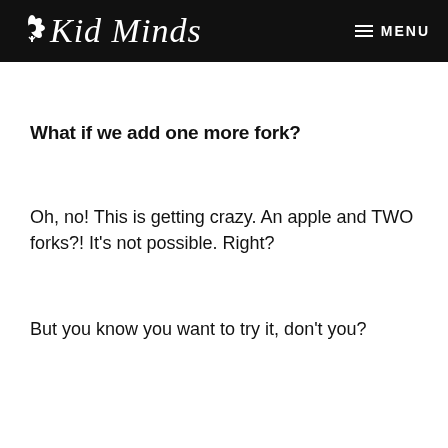Kid Minds   MENU
What if we add one more fork?
Oh, no! This is getting crazy. An apple and TWO forks?! It's not possible. Right?
But you know you want to try it, don't you?